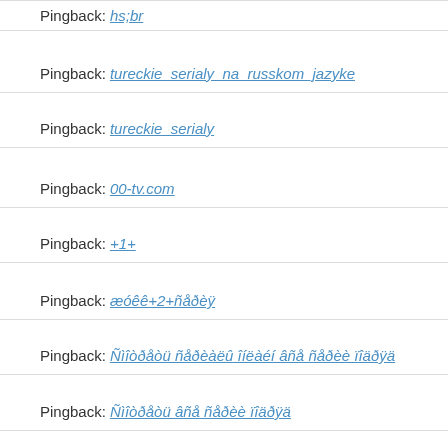Pingback: hs;br
Pingback: tureckie_serialy_na_russkom_jazyke
Pingback: tureckie_serialy
Pingback: 00-tv.com
Pingback: +1+
Pingback: æóêê+2+ñåðèÿ
Pingback: Ñìîòðåòü ñåðèàëû îíëàéí âñå ñåðèè ïîäðÿä
Pingback: Ñìîòðåòü âñå ñåðèè ïîäðÿä